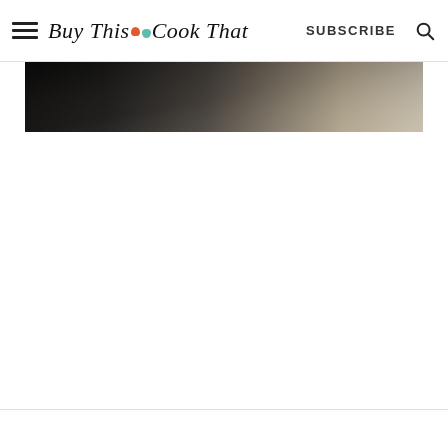Buy This Cook That — SUBSCRIBE
[Figure (photo): Partial view of a food photo strip showing a dark background transitioning to light beige/tan tones, cropped at the top of the content area.]